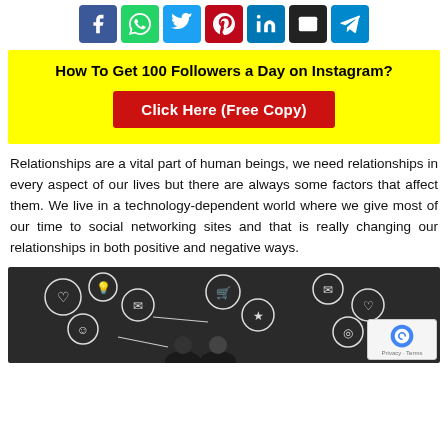[Figure (other): Social media share buttons: Facebook (blue), WhatsApp (green), Twitter (light blue), Pinterest (red), LinkedIn (dark blue), Email (black), Telegram (blue)]
[Figure (infographic): Yellow promotional box with text 'How To Get 100 Followers a Day on Instagram?' and a red 'Click Here (Free Copy)' button]
Relationships are a vital part of human beings, we need relationships in every aspect of our lives but there are always some factors that affect them. We live in a technology-dependent world where we give most of our time to social networking sites and that is really changing our relationships in both positive and negative ways.
[Figure (photo): Black and white photo of two people looking at a chalkboard covered in social media icons and arrows]